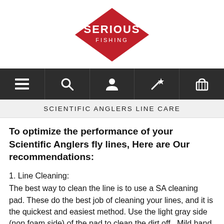[Figure (logo): Serious Fishing red diamond logo with white text SERIOUS FISHING]
[Figure (other): Navigation bar with 5 icons: hamburger menu, search, user/account, magic wand/wishlist, shopping basket]
SCIENTIFIC ANGLERS LINE CARE
To optimize the performance of your Scientific Anglers fly lines, Here are Our recommendations:
1. Line Cleaning:
The best way to clean the line is to use a SA cleaning pad. These do the best job of cleaning your lines, and it is the quickest and easiest method. Use the light gray side (non foam side) of the pad to clean the dirt off.  Mild hand soap and water on a cloth work well also. Don't use